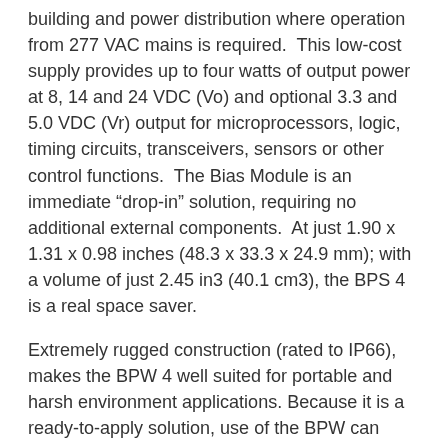building and power distribution where operation from 277 VAC mains is required. This low-cost supply provides up to four watts of output power at 8, 14 and 24 VDC (Vo) and optional 3.3 and 5.0 VDC (Vr) output for microprocessors, logic, timing circuits, transceivers, sensors or other control functions. The Bias Module is an immediate “drop-in” solution, requiring no additional external components. At just 1.90 x 1.31 x 0.98 inches (48.3 x 33.3 x 24.9 mm); with a volume of just 2.45 in3 (40.1 cm3), the BPS 4 is a real space saver.
Extremely rugged construction (rated to IP66), makes the BPW 4 well suited for portable and harsh environment applications. Because it is a ready-to-apply solution, use of the BPW can shorten the design cycle and eliminate the need to source and inventory multiple power supply components. And as a single-component solution, with >500,000 hours MTBF, the module can greatly improve product reliability, while eliminating the need to source and inventory dozens of discrete components.